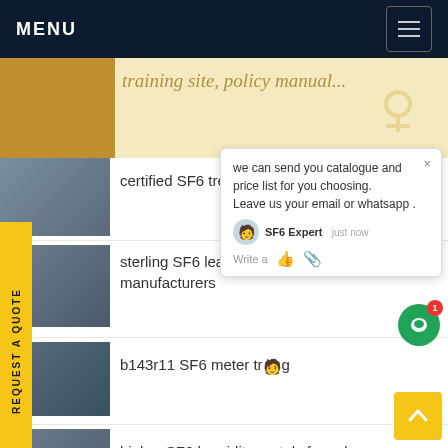MENU
[Figure (screenshot): Website listing page for SF6 equipment with navigation menu at top, sidebar request quote button, chat popup overlay, and list of article links with thumbnail images]
certified SF6 treatment training cost
sterling SF6 leak detection manufacturers
b143r11 SF6 meter tr...
higher SF6 humidity rentals for sale
l170r01 SF6 servi 231 os couplings for sale
l170r01 SF6 multi analyzer procedure